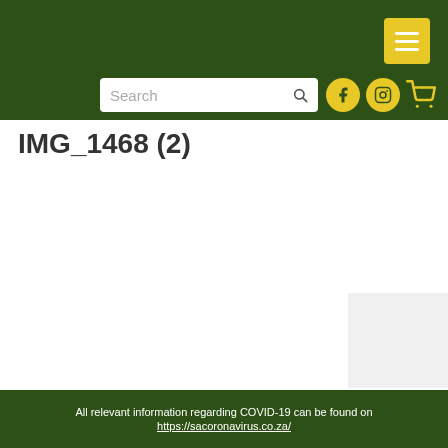IMG_1468 (2)
[Figure (screenshot): Website header with dark green background, search bar, menu button, social media icons (Facebook, Instagram), and cart icon]
IMG_1468 (2)
[Figure (photo): Partial image visible in lower right corner]
All relevant information regarding COVID-19 can be found on https://sacoronavirus.co.za/